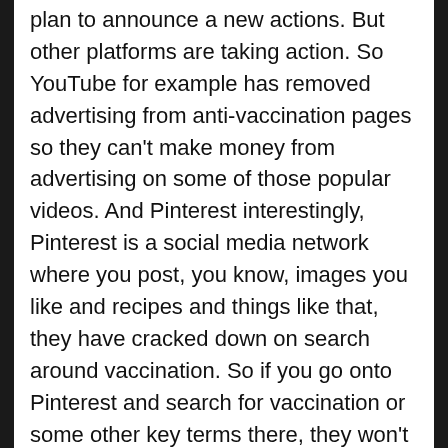plan to announce a new actions. But other platforms are taking action. So YouTube for example has removed advertising from anti-vaccination pages so they can't make money from advertising on some of those popular videos. And Pinterest interestingly, Pinterest is a social media network where you post, you know, images you like and recipes and things like that, they have cracked down on search around vaccination. So if you go onto Pinterest and search for vaccination or some other key terms there, they won't return results for good or ill, and that's their tactic.
Fran Kelly: Ok. What's the best way to push back against these fears of vaccination?
Ariel Bogle: When you talk to doctors, and I did for my story today, it's in person. These types of messages really are best countered in direct